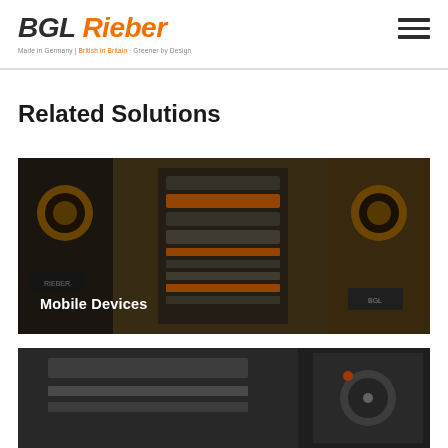[Figure (logo): BGL Rieber logo with tagline: Made in Germany | British in Britain | Greener by Design]
Related Solutions
[Figure (photo): Photo of industrial mobile devices/equipment, yellow and black units, with overlay text 'Mobile Devices']
[Figure (photo): Partial photo of industrial equipment at bottom of page, dark tones]